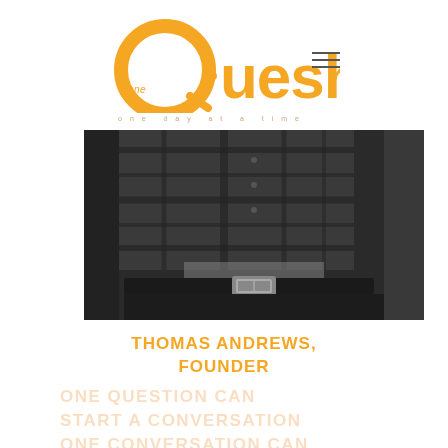[Figure (logo): oneQuesh logo with orange Q and text, tagline 'one day at a time']
[Figure (photo): Black and white photo of a person's midsection wearing a plaid shirt and black pants with a belt buckle]
THOMAS ANDREWS,
FOUNDER
ONE QUESTION CAN START A CONVERSATION ONE CONVERSATION CAN CHANGE YOUR LIFE